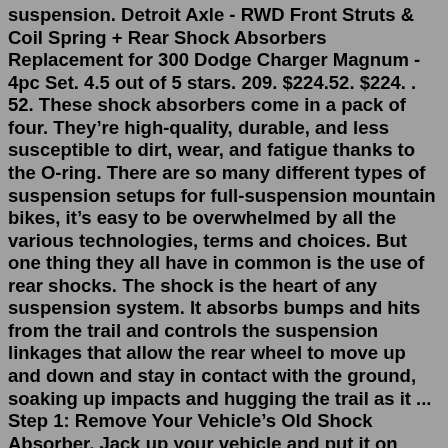suspension. Detroit Axle - RWD Front Struts & Coil Spring + Rear Shock Absorbers Replacement for 300 Dodge Charger Magnum - 4pc Set. 4.5 out of 5 stars. 209. $224.52. $224. . 52. These shock absorbers come in a pack of four. They're high-quality, durable, and less susceptible to dirt, wear, and fatigue thanks to the O-ring. There are so many different types of suspension setups for full-suspension mountain bikes, it's easy to be overwhelmed by all the various technologies, terms and choices. But one thing they all have in common is the use of rear shocks. The shock is the heart of any suspension system. It absorbs bumps and hits from the trail and controls the suspension linkages that allow the rear wheel to move up and down and stay in contact with the ground, soaking up impacts and hugging the trail as it ... Step 1: Remove Your Vehicle's Old Shock Absorber. Jack up your vehicle and put it on stands, and remove the rear wheel where you'll be working on. Then, place a jack under the lower ball joint or control arm. Raise